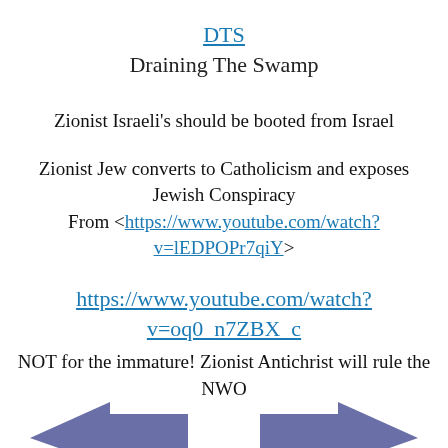DTS
Draining The Swamp
Zionist Israeli’s should be booted from Israel
Zionist Jew converts to Catholicism and exposes Jewish Conspiracy
From <https://www.youtube.com/watch?v=lEDPOPr7qiY>
https://www.youtube.com/watch?v=oq0_n7ZBX_c
NOT for the immature! Zionist Antichrist will rule the NWO
[Figure (illustration): Blue/purple arrow shape at bottom of page pointing left and right outward]